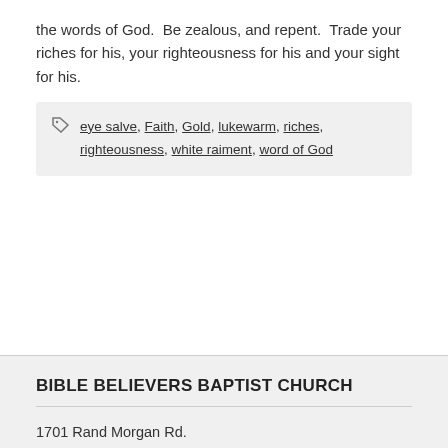the words of God. Be zealous, and repent. Trade your riches for his, your righteousness for his and your sight for his.
eye salve, Faith, Gold, lukewarm, riches, righteousness, white raiment, word of God
BIBLE BELIEVERS BAPTIST CHURCH
1701 Rand Morgan Rd.
Corpus Christi, TX 78410
(361) 241-6100
Find Us on Google Maps!
PASTOR BEVANS WELDER